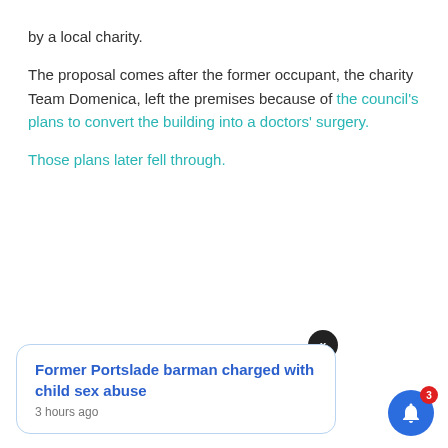by a local charity.
The proposal comes after the former occupant, the charity Team Domenica, left the premises because of the council's plans to convert the building into a doctors' surgery.
Those plans later fell through.
Former Portslade barman charged with child sex abuse
3 hours ago